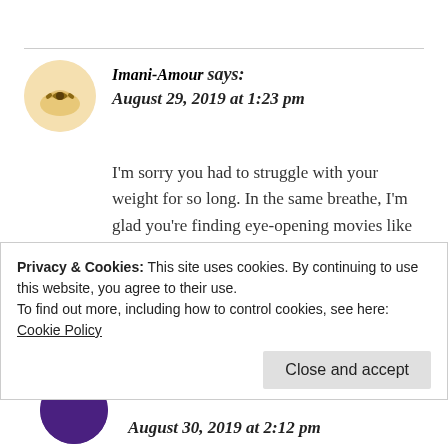Imani-Amour says:
August 29, 2019 at 1:23 pm
I'm sorry you had to struggle with your weight for so long. In the same breathe, I'm glad you're finding eye-opening movies like these that help you through it! Will recommend youth this to friends because of you.
★ Liked by 1 person
Privacy & Cookies: This site uses cookies. By continuing to use this website, you agree to their use.
To find out more, including how to control cookies, see here: Cookie Policy
Close and accept
August 30, 2019 at 2:12 pm